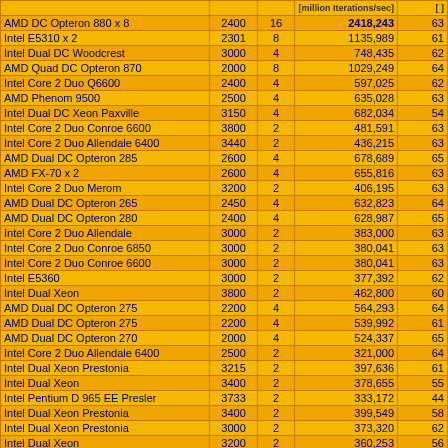| CPU | MHz | Cores | [million Iterations/sec] | [?] |
| --- | --- | --- | --- | --- |
| AMD DC Opteron 880 x 8 | 2400 | 16 | 2418,243 | 63 |
| Intel E5310 x 2 | 2301 | 8 | 1135,989 | 61 |
| Intel Dual DC Woodcrest | 3000 | 4 | 748,435 | 62 |
| AMD Quad DC Opteron 870 | 2000 | 8 | 1029,249 | 64 |
| Intel Core 2 Duo Q6600 | 2400 | 4 | 597,025 | 62 |
| AMD Phenom 9500 | 2500 | 4 | 635,028 | 63 |
| Intel Dual DC Xeon Paxville | 3150 | 4 | 682,034 | 54 |
| Intel Core 2 Duo Conroe 6600 | 3800 | 2 | 481,591 | 63 |
| Intel Core 2 Duo Allendale 6400 | 3440 | 2 | 436,215 | 63 |
| AMD Dual DC Opteron 285 | 2600 | 4 | 678,689 | 65 |
| AMD FX-70 x 2 | 2600 | 4 | 655,816 | 63 |
| Intel Core 2 Duo Merom | 3200 | 2 | 406,195 | 63 |
| AMD Dual DC Opteron 265 | 2450 | 4 | 632,823 | 64 |
| AMD Dual DC Opteron 280 | 2400 | 4 | 628,987 | 65 |
| Intel Core 2 Duo Allendale | 3000 | 2 | 383,000 | 63 |
| Intel Core 2 Duo Conroe 6850 | 3000 | 2 | 380,041 | 63 |
| Intel Core 2 Duo Conroe 6600 | 3000 | 2 | 380,041 | 63 |
| Intel E5360 | 3000 | 2 | 377,392 | 62 |
| Intel Dual Xeon | 3800 | 2 | 462,800 | 60 |
| AMD Dual DC Opteron 275 | 2200 | 4 | 564,293 | 64 |
| AMD Dual DC Opteron 275 | 2200 | 4 | 539,992 | 61 |
| AMD Dual DC Opteron 270 | 2000 | 4 | 524,337 | 65 |
| Intel Core 2 Duo Allendale 6400 | 2500 | 2 | 321,000 | 64 |
| Intel Dual Xeon Prestonia | 3215 | 2 | 397,636 | 61 |
| Intel Dual Xeon | 3400 | 2 | 378,655 | 55 |
| Intel Pentium D 965 EE Presler | 3733 | 2 | 333,172 | 44 |
| Intel Dual Xeon Prestonia | 3400 | 2 | 399,549 | 58 |
| Intel Dual Xeon Prestonia | 3000 | 2 | 373,320 | 62 |
| Intel Dual Xeon | 3200 | 2 | 360,253 | 56 |
| Intel Dual Xeon | 2800 | 2 | 341,766 | 57 |